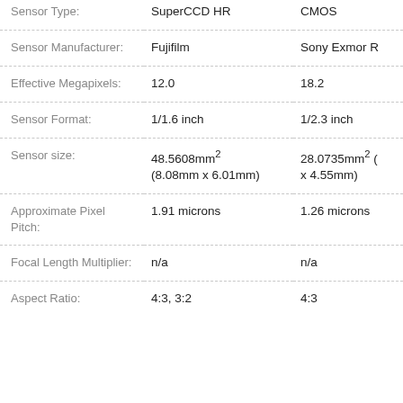| Attribute | Camera 1 | Camera 2 |
| --- | --- | --- |
| Sensor Type: | SuperCCD HR | CMOS |
| Sensor Manufacturer: | Fujifilm | Sony Exmor R |
| Effective Megapixels: | 12.0 | 18.2 |
| Sensor Format: | 1/1.6 inch | 1/2.3 inch |
| Sensor size: | 48.5608mm² (8.08mm x 6.01mm) | 28.0735mm² (... x 4.55mm) |
| Approximate Pixel Pitch: | 1.91 microns | 1.26 microns |
| Focal Length Multiplier: | n/a | n/a |
| Aspect Ratio: | 4:3, 3:2 | 4:3 |